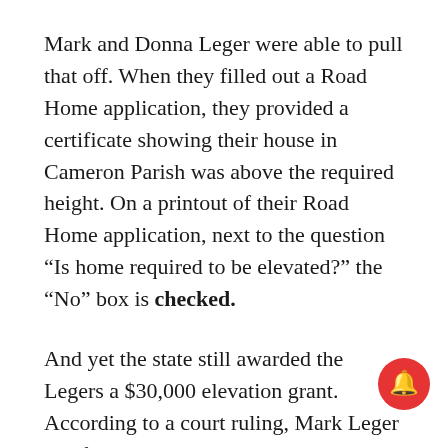Mark and Donna Leger were able to pull that off. When they filled out a Road Home application, they provided a certificate showing their house in Cameron Parish was above the required height. On a printout of their Road Home application, next to the question “Is home required to be elevated?” the “No” box is checked.
And yet the state still awarded the Legers a $30,000 elevation grant. According to a court ruling, Mark Leger testified that a Road Home representative told him he could use the money to elevate his air-conditioning units or the u meter, or to repair his house.